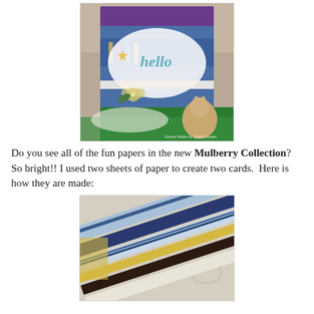[Figure (photo): A handmade greeting card with blue and purple patterned paper, featuring the word 'hello' in script, a gold star, and yellow flower embellishments, displayed in green Easter grass next to a small ceramic bunny figurine.]
Do you see all of the fun papers in the new Mulberry Collection? So bright!! I used two sheets of paper to create two cards.  Here is how they are made:
[Figure (photo): A close-up photo of multiple strips of patterned and solid-colored paper (blue, black, yellow, dark brown) fanned out on a decorative background with a floral pattern.]